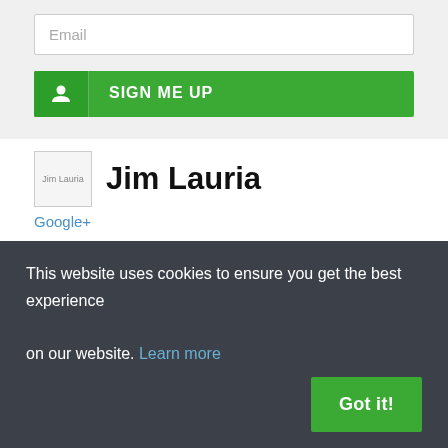Email
SIGN ME UP
[Figure (other): Author photo placeholder for Jim Lauria]
Jim Lauria
Google+
Jim Lauria is an executive in the water technology field with a proven track record of revenue growth, profit improvement, and new business development.
This website uses cookies to ensure you get the best experience on our website. Learn more
Got it!